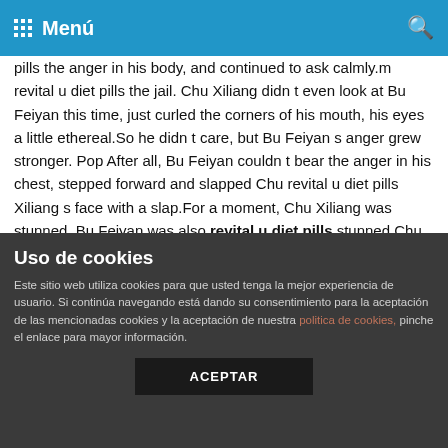Menú
pills the anger in his body, and continued to ask calmly.m revital u diet pills the jail. Chu Xiliang didn t even look at Bu Feiyan this time, just curled the corners of his mouth, his eyes a little ethereal.So he didn t care, but Bu Feiyan s anger grew stronger. Pop After all, Bu Feiyan couldn t bear the anger in his chest, stepped forward and slapped Chu revital u diet pills Xiliang s face with a slap.For a moment, Chu Xiliang was stunned. Bu Feiyan was also revital u diet pills stunned.Chu Xiliang reached out and touched the place where he was beaten, hooking his mouth , Looked at Bu Feiyan with some playfulness, that smile was a bit weird, and looked at Bu Feiyan with a trace of guilty conscience.She forcibly stabilized her mind and revital u diet pills looked at Chu Xiliang with a bit of hatred in her tone Chu Xiliang, what do you take those people s lives for Bu revital u diet pills Feiyan...
Uso de cookies
Este sitio web utiliza cookies para que usted tenga la mejor experiencia de usuario. Si continúa navegando está dando su consentimiento para la aceptación de las mencionadas cookies y la aceptación de nuestra politica de cookies, pinche el enlace para mayor información.